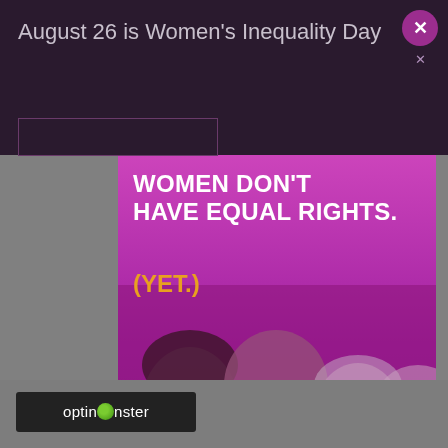August 26 is Women's Inequality Day
[Figure (photo): Advertisement popup showing women's inequality awareness campaign. Purple-tinted photo of four diverse women looking at camera. Text overlay reads: WOMEN DON'T HAVE EQUAL RIGHTS. (YET.) in white and gold. Hashtag #WomensInequalityDay and DONATE NOW button in gold at bottom.]
#WomensInequalityDay
DONATE NOW
[Figure (logo): OptinMonster logo on dark background bar at bottom of page]